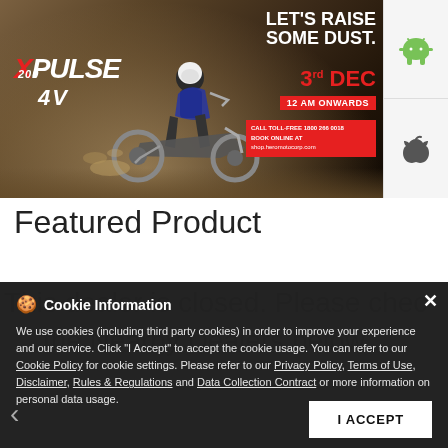[Figure (photo): Hero MotoCorp Xpulse 200 4V motorcycle advertisement banner. Dirt bike rider kicking up dust. Text reads LET'S RAISE SOME DUST. 3rd DEC 12 AM ONWARDS. CALL TOLL-FREE 1800 266 0018. BOOK ONLINE AT shop.heromotocorp.com]
Featured Product
This dealer is closed. Please check Nearby Dealers below
Cookie Information
We use cookies (including third party cookies) in order to improve your experience and our service. Click "I Accept" to accept the cookie usage. You can refer to our Cookie Policy for cookie settings. Please refer to our Privacy Policy, Terms of Use, Disclaimer, Rules & Regulations and Data Collection Contract or more information on personal data usage.